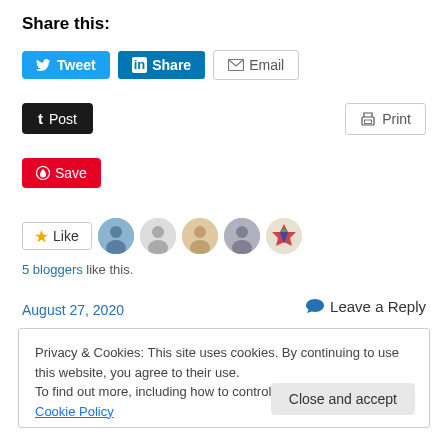Share this:
Tweet  Share  Email
Post  Print
Save
Like  5 bloggers like this.
August 27, 2020  Leave a Reply
Privacy & Cookies: This site uses cookies. By continuing to use this website, you agree to their use. To find out more, including how to control cookies, see here: Cookie Policy
Close and accept
Life is full of stress for most people. We work all day long,